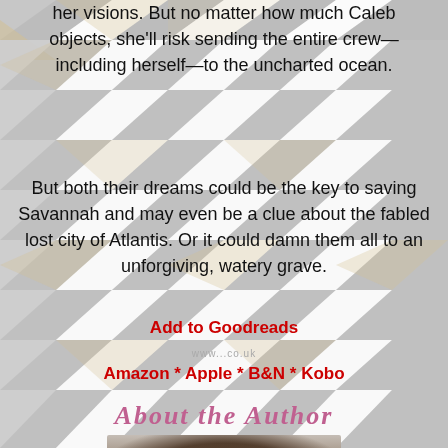her visions. But no matter how much Caleb objects, she'll risk sending the entire crew—including herself—to the uncharted ocean.
But both their dreams could be the key to saving Savannah and may even be a clue about the fabled lost city of Atlantis. Or it could damn them all to an unforgiving, watery grave.
Add to Goodreads
Amazon * Apple * B&N * Kobo
ABOUT THE AUTHOR
[Figure (photo): Author headshot photo showing a person with dark hair]